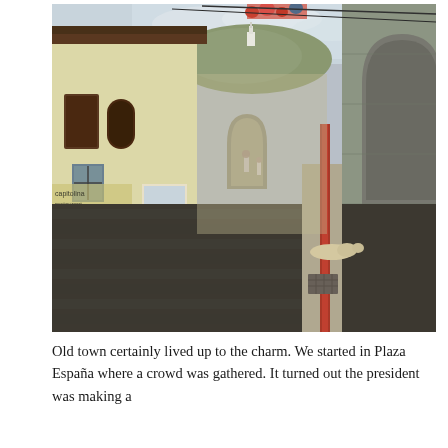[Figure (photo): A narrow cobblestone street in Quito's old town, Ecuador. Colonial-style buildings line both sides — yellow and white stucco facades on the left, a stone arch building on the right. A red brick stripe runs down the center sidewalk. A dog lies on the right sidewalk. People walk in the distance under a covered archway. Mountains and a cloudy sky are visible at the far end of the street.]
Old town certainly lived up to the charm. We started in Plaza España where a crowd was gathered. It turned out the president was making a